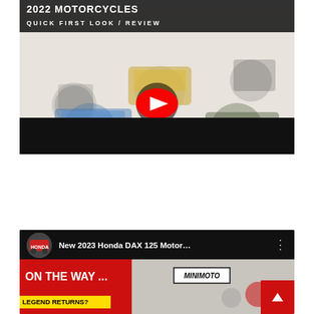[Figure (screenshot): YouTube video thumbnail for 2022 Motorcycle Quick First Look / Review showing multiple motorcycles (vintage, scrambler, cruiser styles) with a YouTube play button overlay and a black info bar below.]
[Figure (screenshot): YouTube video card for 'New 2023 Honda DAX 125 Motor...' with channel icon, three-dot menu, and thumbnail showing red diagonal banner text 'ON THE WAY...' and 'LEGEND RETURNS?' with MINIMOTO logo and motorcycle images. Scroll-to-top red button visible bottom right.]